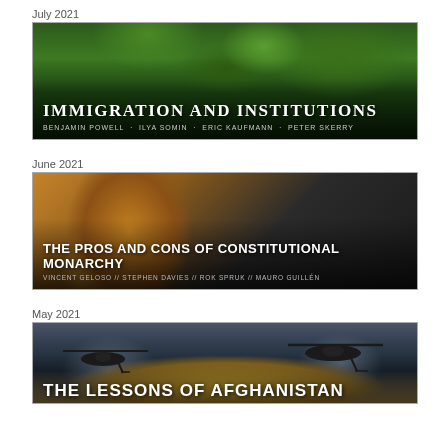July 2021
[Figure (photo): Book cover for 'Immigration and Institutions' featuring a person picking fruit from a tree, with authors Benjamin Powell, Ilya Somin, Eric Kaufmann, Peter Skerry]
June 2021
[Figure (photo): Book cover for 'The Pros and Cons of Constitutional Monarchy' featuring a painting of a queen, with authors Vincent Geloso, Stephen Davies, Rok Spruk, Mauro Guillén]
May 2021
[Figure (photo): Book cover for 'The Lessons of Afghanistan' featuring military helicopters at dusk]